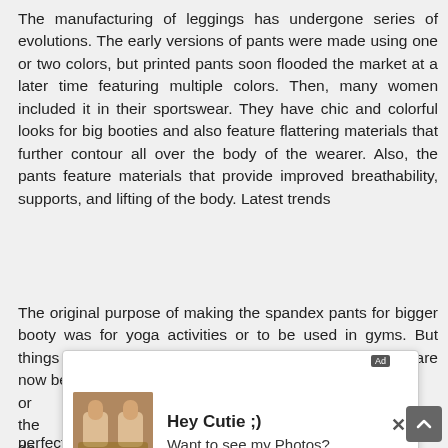The manufacturing of leggings has undergone series of evolutions. The early versions of pants were made using one or two colors, but printed pants soon flooded the market at a later time featuring multiple colors. Then, many women included it in their sportswear. They have chic and colorful looks for big booties and also feature flattering materials that further contour all over the body of the wearer. Also, the pants feature materials that provide improved breathability, supports, and lifting of the body. Latest trends
The original purpose of making the spandex pants for bigger booty was for yoga activities or to be used in gyms. But things have changed a great deal these days, and they are now being used for non-gym pu[...]red or[...]dd the[...]est de[...]the beautiful; print of the leggings. Women looking for the perfect outfit for a night on the town to show off
[Figure (other): Advertisement overlay popup: 'Hey Cutie ;) Want to see my Photos?' with a thumbnail image and close button (×)]